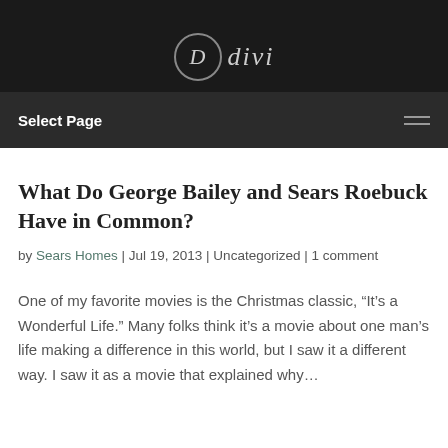divi
What Do George Bailey and Sears Roebuck Have in Common?
by Sears Homes | Jul 19, 2013 | Uncategorized | 1 comment
One of my favorite movies is the Christmas classic, “It’s a Wonderful Life.” Many folks think it’s a movie about one man’s life making a difference in this world, but I saw it a different way. I saw it as a movie that explained why…